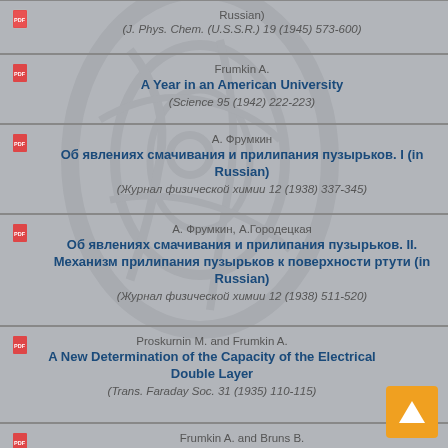Russian)
(J. Phys. Chem. (U.S.S.R.) 19 (1945) 573-600)
Frumkin A.
A Year in an American University
(Science 95 (1942) 222-223)
А. Фрумкин
Об явлениях смачивания и прилипания пузырьков. I (in Russian)
(Журнал физической химии 12 (1938) 337-345)
А. Фрумкин, А.Городецкая
Об явлениях смачивания и прилипания пузырьков. II. Механизм прилипания пузырьков к поверхности ртути (in Russian)
(Журнал физической химии 12 (1938) 511-520)
Proskurnin M. and Frumkin A.
A New Determination of the Capacity of the Electrical Double Layer
(Trans. Faraday Soc. 31 (1935) 110-115)
Frumkin A. and Bruns B.